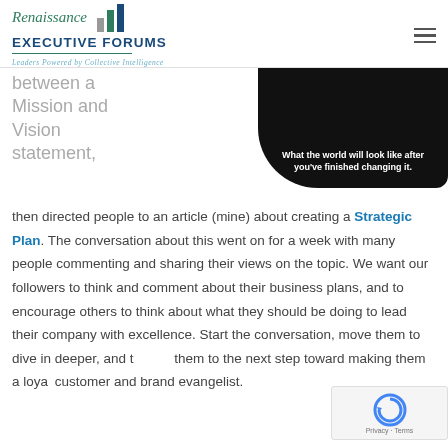Renaissance Executive Forums — Leaders Powered by Collective Intelligence
[Figure (photo): Dark background image with white bold text reading 'What the world will look like after you've finished changing it.']
between a Mission and Vision statement, then directed people to an article (mine) about creating a Strategic Plan. The conversation about this went on for a week with many people commenting and sharing their views on the topic. We want our followers to think and comment about their business plans, and to encourage others to think about what they should be doing to lead their company with excellence. Start the conversation, move them to dive in deeper, and to take them to the next step toward making them a loyal customer and brand evangelist.